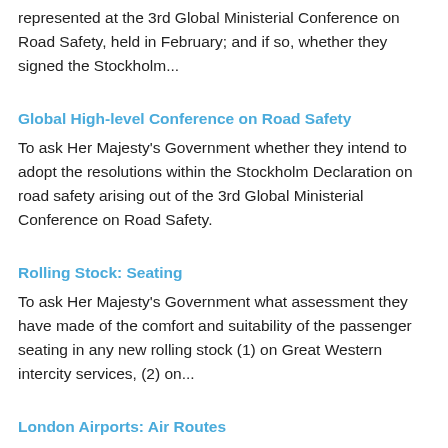represented at the 3rd Global Ministerial Conference on Road Safety, held in February; and if so, whether they signed the Stockholm...
Global High-level Conference on Road Safety
To ask Her Majesty's Government whether they intend to adopt the resolutions within the Stockholm Declaration on road safety arising out of the 3rd Global Ministerial Conference on Road Safety.
Rolling Stock: Seating
To ask Her Majesty's Government what assessment they have made of the comfort and suitability of the passenger seating in any new rolling stock (1) on Great Western intercity services, (2) on...
London Airports: Air Routes